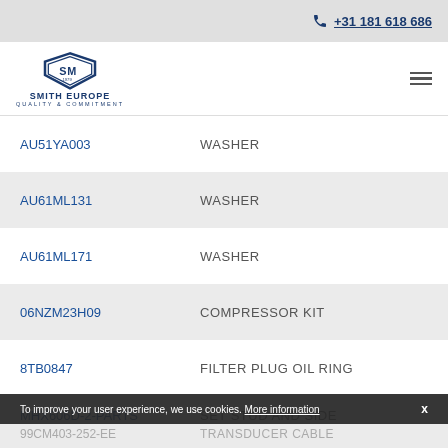+31 181 618 686
[Figure (logo): Smith Europe logo with shield emblem and text SMITH EUROPE QUALITY & COMMITMENT]
| Part Number | Description |
| --- | --- |
| AU51YA003 | WASHER |
| AU61ML131 | WASHER |
| AU61ML171 | WASHER |
| 06NZM23H09 | COMPRESSOR KIT |
| 8TB0847 | FILTER PLUG OIL RING |
| MHX606D-2-PARTS | SET STUD AND SIDE COVERS |
| 99CM403-252-EE | TRANSDUCER CABLE |
To improve your user experience, we use cookies. More information